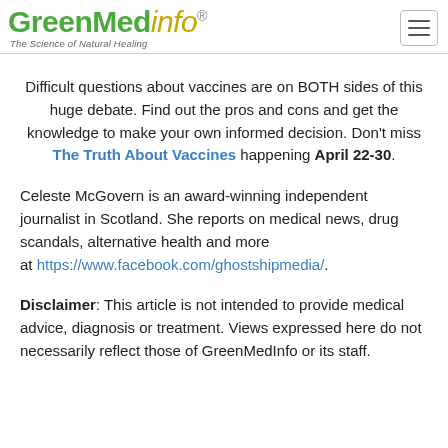GreenMedInfo — The Science of Natural Healing
Difficult questions about vaccines are on BOTH sides of this huge debate. Find out the pros and cons and get the knowledge to make your own informed decision. Don't miss The Truth About Vaccines happening April 22-30.
Celeste McGovern is an award-winning independent journalist in Scotland. She reports on medical news, drug scandals, alternative health and more at https://www.facebook.com/ghostshipmedia/.
Disclaimer: This article is not intended to provide medical advice, diagnosis or treatment. Views expressed here do not necessarily reflect those of GreenMedInfo or its staff.